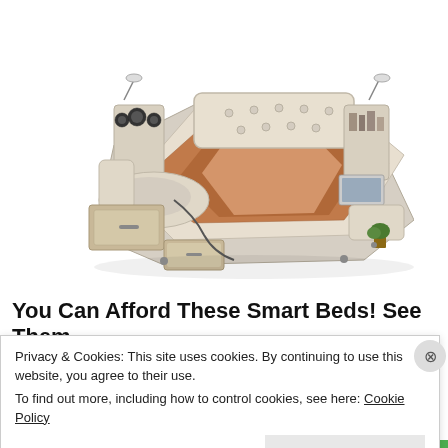[Figure (photo): A large multifunctional luxury smart bed with cream/beige leather upholding, featuring speakers, storage drawers, a recliner attachment, massage chair, laptop stand, bookshelf headboard, and various built-in accessories shown from an isometric perspective.]
You Can Afford These Smart Beds! See Them
Privacy & Cookies: This site uses cookies. By continuing to use this website, you agree to their use.
To find out more, including how to control cookies, see here: Cookie Policy
Close and accept